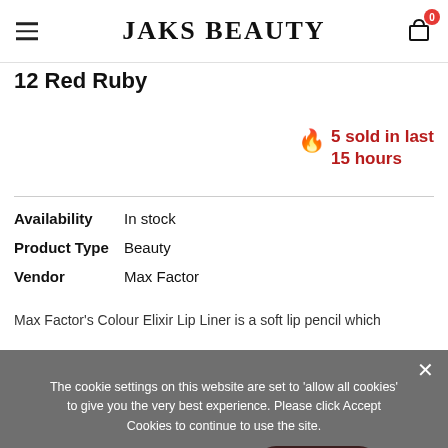JAKS BEAUTY
12 Red Ruby
5 sold in last 15 hours
| Field | Value |
| --- | --- |
| Availability | In stock |
| Product Type | Beauty |
| Vendor | Max Factor |
Max Factor's Colour Elixir Lip Liner is a soft lip pencil which
The cookie settings on this website are set to 'allow all cookies' to give you the very best experience. Please click Accept Cookies to continue to use the site.